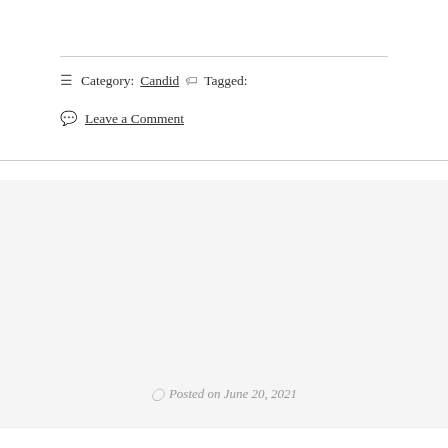≡ Category: Candid 🏷 Tagged:
💬 Leave a Comment
🕐 Posted on June 20, 2021
Beauty shows up in a lot of different ways, but
Privacy & Cookies: This site uses cookies. By continuing to use this website, you agree to their use. To find out more, including how to control cookies, see here: Cookie Policy
Close and accept